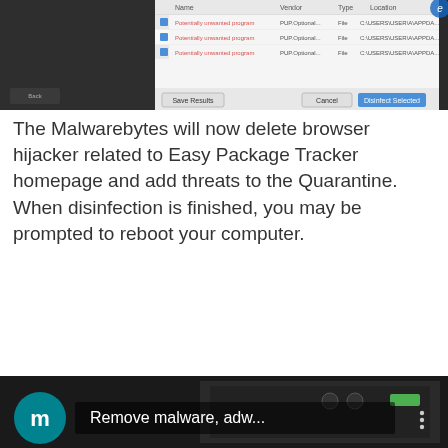[Figure (screenshot): Malwarebytes scan results window showing detected threats with file paths, and buttons: Save Results, Cancel, Disinfect Selected]
The Malwarebytes will now delete browser hijacker related to Easy Package Tracker homepage and add threats to the Quarantine. When disinfection is finished, you may be prompted to reboot your computer.
[Figure (screenshot): Malwarebytes notification dialog: 'All selected items have been removed successfully. A log file has been saved to the logs folder. Your computer needs to be restarted to complete the removal process. Would you like to restart now?' with Yes and No buttons.]
The following video explains steps on how to delete hijacker, adware software and other malicious software with MalwareBytes AntiMalware (MBAM).
[Figure (screenshot): Video thumbnail with teal circle 'm' logo and text 'Remove malware, adw...' with options menu icon, dark background showing audio/video equipment]